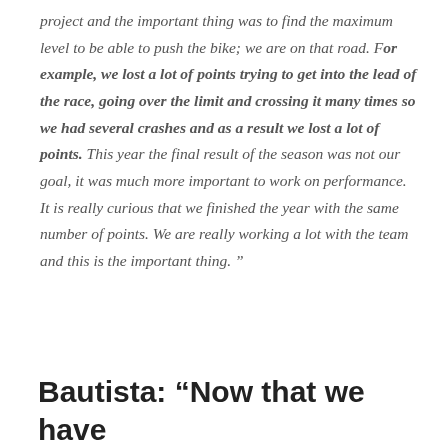project and the important thing was to find the maximum level to be able to push the bike; we are on that road. For example, we lost a lot of points trying to get into the lead of the race, going over the limit and crossing it many times so we had several crashes and as a result we lost a lot of points. This year the final result of the season was not our goal, it was much more important to work on performance. It is really curious that we finished the year with the same number of points. We are really working a lot with the team and this is the important thing. ”
Bautista: “Now that we have